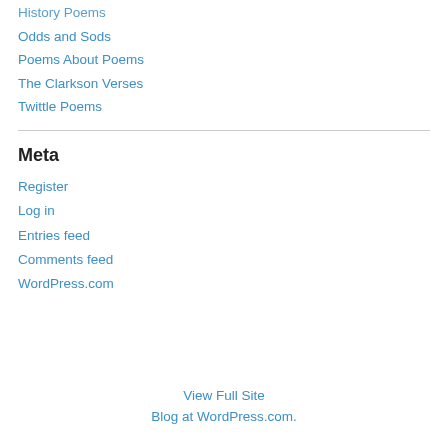History Poems
Odds and Sods
Poems About Poems
The Clarkson Verses
Twittle Poems
Meta
Register
Log in
Entries feed
Comments feed
WordPress.com
View Full Site
Blog at WordPress.com.